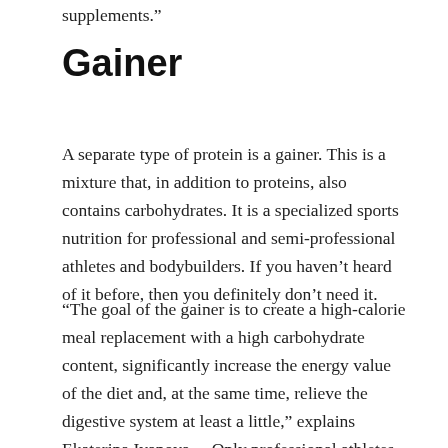supplements.”
Gainer
A separate type of protein is a gainer. This is a mixture that, in addition to proteins, also contains carbohydrates. It is a specialized sports nutrition for professional and semi-professional athletes and bodybuilders. If you haven’t heard of it before, then you definitely don’t need it.
“The goal of the gainer is to create a high-calorie meal replacement with a high carbohydrate content, significantly increase the energy value of the diet and, at the same time, relieve the digestive system at least a little,” explains Ekaterina Ivanova. – Only professional athletes face such tasks during prolonged intense loads. In this